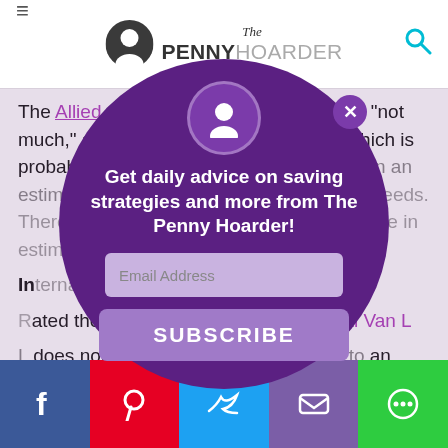The Penny Hoarder
The Allied website asks if you are moving "not much," an "average" amount or "a lot," which is probably a variable that will be settled when an estimator actually looks over your moving needs. There was approximately $700 difference in estimates.
International Van Lines does not offer a quote without talking to an agent. However, it does provide flexible which a "consultant" and matched with someone
[Figure (screenshot): A circular purple modal popup overlay on a webpage. It contains a white avatar icon at the top, a close (X) button, the text 'Get daily advice on saving strategies and more from The Penny Hoarder!', an email address input field, and a SUBSCRIBE button.]
Social share bar with Facebook, Pinterest, Twitter, Email, and Chat buttons